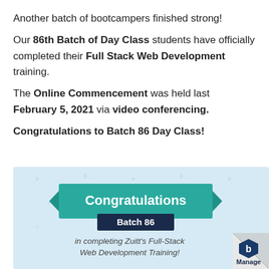Another batch of bootcampers finished strong! Our 86th Batch of Day Class students have officially completed their Full Stack Web Development training.

The Online Commencement was held last February 5, 2021 via video conferencing.

Congratulations to Batch 86 Day Class!
[Figure (illustration): Light blue congratulations banner graphic with teal ribbon reading 'Congratulations', dark navy badge saying 'Batch 86', text 'in completing Zuitt's Full-Stack Web Development Training!', page curl in bottom right corner, and Manage logo.]